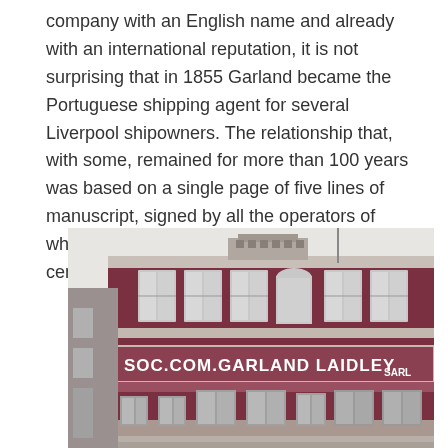company with an English name and already with an international reputation, it is not surprising that in 1855 Garland became the Portuguese shipping agent for several Liverpool shipowners. The relationship that, with some, remained for more than 100 years was based on a single page of five lines of manuscript, signed by all the operators of what, at the time, was the main navigation center in Europe.
[Figure (photo): Black and white photograph of a multi-storey brick building with the text 'SOC.COM.GARLAND LAIDLEY SARL' painted on its facade. The building has multiple windows and appears to be a historic commercial establishment.]